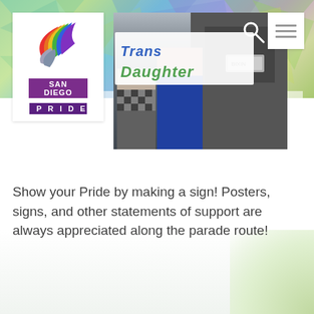[Figure (screenshot): San Diego Pride logo with colorful bird/wing graphic, 'SAN DIEGO' in purple bar and 'PRIDE' in dark purple bar below]
[Figure (photo): Photo of people holding a sign that reads 'Trans Daughter' at a pride parade]
Show your Pride by making a sign! Posters, signs, and other statements of support are always appreciated along the parade route!